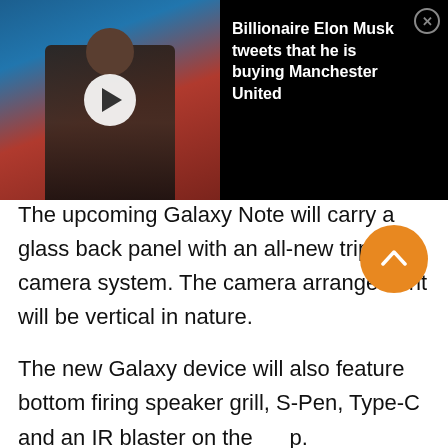[Figure (screenshot): Video player overlay showing a man in a tuxedo (Elon Musk) with a play button, labeled 'Billionaire Elon ...' on the left. On the right, black panel with text 'Billionaire Elon Musk tweets that he is buying Manchester United' and a close (X) button.]
The upcoming Galaxy Note will carry a glass back panel with an all-new triple camera system. The camera arrangement will be vertical in nature.
The new Galaxy device will also feature bottom firing speaker grill, S-Pen, Type-C and an IR blaster on the top.
You also get an in-display fingerprint reader, superfast UFS 3.0 storage and 45W fast-charging support.
As far as pricing is concerned, nothing is official as of yet